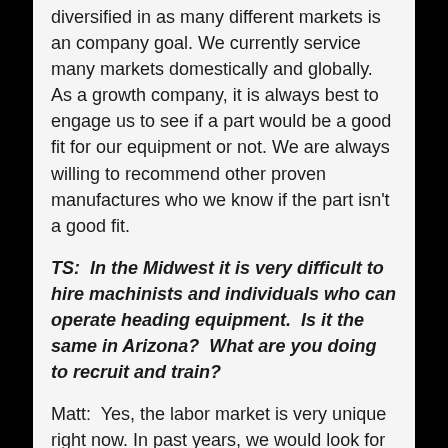diversified in as many different markets is an company goal. We currently service many markets domestically and globally. As a growth company, it is always best to engage us to see if a part would be a good fit for our equipment or not. We are always willing to recommend other proven manufactures who we know if the part isn't a good fit.
TS:  In the Midwest it is very difficult to hire machinists and individuals who can operate heading equipment.  Is it the same in Arizona?  What are you doing to recruit and train?
Matt:  Yes, the labor market is very unique right now. In past years, we would look for experienced labor from other states to recruit, and we still do today. However, we have found success from developing our own internal training plan for candidates without hands on experience. This has proven track record for the company. Regarding